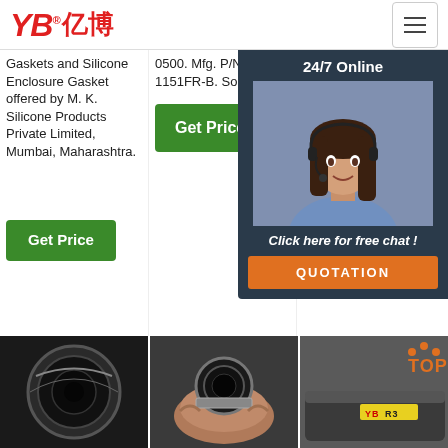YB亿博® — website header with navigation menu button
Gaskets and Silicone Enclosure Gasket offered by M. K. Silicone Products Private Limited, Mumbai, Maharashtra.
0500. Mfg. P/N: 1/2-1151FR-B. Sold by …
extremely durable, exc… tem… app… spe… rein… very… app… high… a ro…
[Figure (screenshot): Green 'Get Price' button (column 1)]
[Figure (screenshot): Green 'Get Price' button (column 2)]
[Figure (screenshot): 24/7 Online chat overlay with female customer service agent photo, 'Click here for free chat!' text, and orange QUOTATION button]
[Figure (photo): Close-up of hose end (dark circular opening)]
[Figure (photo): Person holding a hose fitting]
[Figure (photo): YB branded rubber hose product with TOP logo]